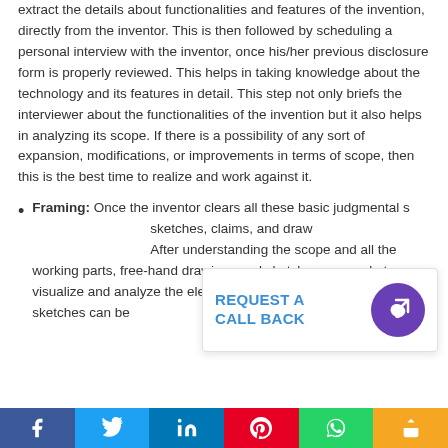extract the details about functionalities and features of the invention, directly from the inventor. This is then followed by scheduling a personal interview with the inventor, once his/her previous disclosure form is properly reviewed. This helps in taking knowledge about the technology and its features in detail. This step not only briefs the interviewer about the functionalities of the invention but it also helps in analyzing its scope. If there is a possibility of any sort of expansion, modifications, or improvements in terms of scope, then this is the best time to realize and work against it.
Framing: Once the inventor clears all these basic judgmental steps — sketches, claims, and drawings — After understanding the scope and all the working parts, free-hand drawings and sketches are made to visualize and analyze the elements in a more detailed form. These sketches can be
[Figure (other): REQUEST A CALL BACK overlay with phone icon on purple circular background]
Social share bar: Facebook, Twitter, LinkedIn, Pinterest, WhatsApp, Share